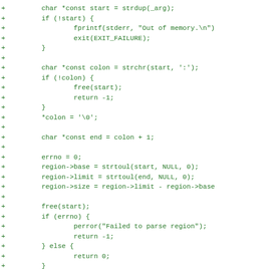[Figure (other): C source code diff showing added lines (marked with +) in green monospace font. Code implements string parsing for memory regions.]